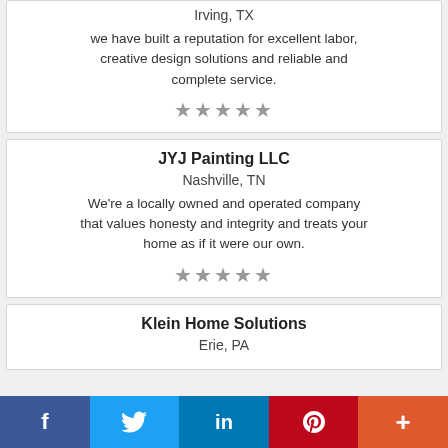Irving, TX
we have built a reputation for excellent labor, creative design solutions and reliable and complete service.
[Figure (other): 5 grey stars rating]
JYJ Painting LLC
Nashville, TN
We're a locally owned and operated company that values honesty and integrity and treats your home as if it were our own.
[Figure (other): 5 grey stars rating]
Klein Home Solutions
Erie, PA
f  Twitter  in  Pinterest  +